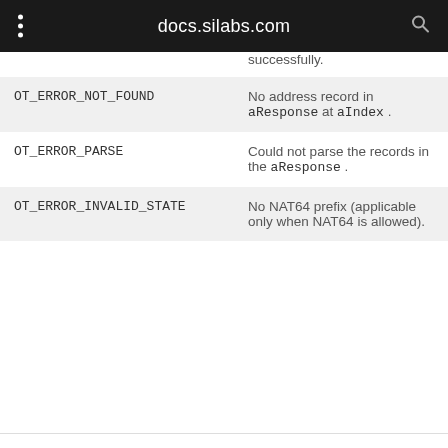docs.silabs.com
|  |  |
| --- | --- |
|  | successfully. |
| OT_ERROR_NOT_FOUND | No address record in aResponse at aIndex . |
| OT_ERROR_PARSE | Could not parse the records in the aResponse . |
| OT_ERROR_INVALID_STATE | No NAT64 prefix (applicable only when NAT64 is allowed). |